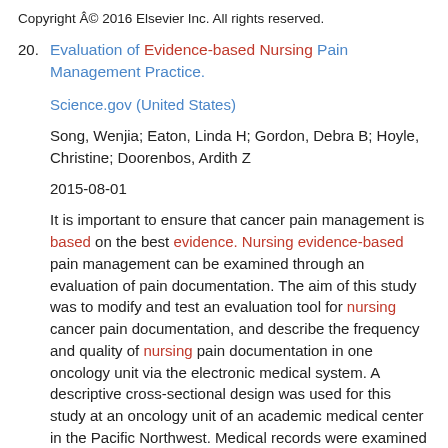Copyright © 2016 Elsevier Inc. All rights reserved.
20. Evaluation of Evidence-based Nursing Pain Management Practice.
Science.gov (United States)
Song, Wenjia; Eaton, Linda H; Gordon, Debra B; Hoyle, Christine; Doorenbos, Ardith Z
2015-08-01
It is important to ensure that cancer pain management is based on the best evidence. Nursing evidence-based pain management can be examined through an evaluation of pain documentation. The aim of this study was to modify and test an evaluation tool for nursing cancer pain documentation, and describe the frequency and quality of nursing pain documentation in one oncology unit via the electronic medical system. A descriptive cross-sectional design was used for this study at an oncology unit of an academic medical center in the Pacific Northwest. Medical records were examined for 37 adults hospitalized during April and May 2013. Nursing pain documentations (N = 329) were reviewed using an evaluation